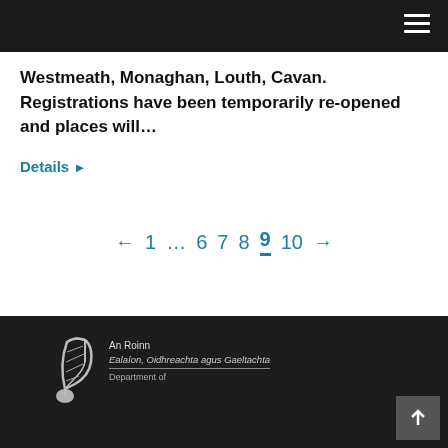Navigation header with hamburger menu
Westmeath, Monaghan, Louth, Cavan. Registrations have been temporarily re-opened and places will…
Details ▶
← 1 … 6 7 8 9 10 →
An Roinn Ealaíon, Oidhreachta agus Gaeltachta / Department of